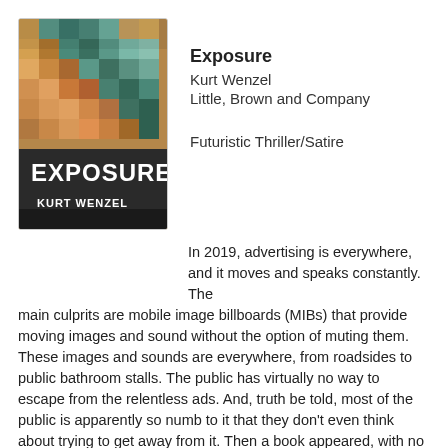[Figure (illustration): Book cover for 'Exposure' by Kurt Wenzel. Pixelated/mosaic image of a face with teal and orange geometric tiles. White bold text reads 'EXPOSURE' and 'KURT WENZEL' on a dark lower portion.]
Exposure
Kurt Wenzel
Little, Brown and Company

Futuristic Thriller/Satire
In 2019, advertising is everywhere, and it moves and speaks constantly. The main culprits are mobile image billboards (MIBs) that provide moving images and sound without the option of muting them. These images and sounds are everywhere, from roadsides to public bathroom stalls. The public has virtually no way to escape from the relentless ads. And, truth be told, most of the public is apparently so numb to it that they don't even think about trying to get away from it. Then a book appeared, with no author listed, called The Black Book for it's complete black cover. It argues against the MIBs, the constant noise, and the digital insertion of former screen icons into ads.